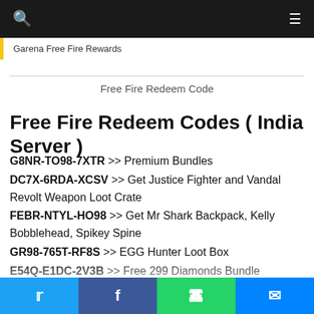Garena Free Fire Rewards
Free Fire Redeem Code
Free Fire Redeem Codes ( India Server )
G8NR-TO98-7XTR >> Premium Bundles
DC7X-6RDA-XCSV >> Get Justice Fighter and Vandal Revolt Weapon Loot Crate
FEBR-NTYL-HO98 >> Get Mr Shark Backpack, Kelly Bobblehead, Spikey Spine
GR98-765T-RF8S >> EGG Hunter Loot Box
E54Q-E1DC-2V3B >> Free 299 Diamonds Bundle